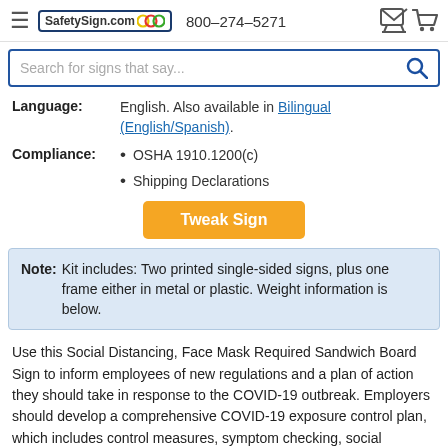SafetySign.com  800-274-5271
Search for signs that say...
Language: English. Also available in Bilingual (English/Spanish).
OSHA 1910.1200(c)
Shipping Declarations
Tweak Sign
Note: Kit includes: Two printed single-sided signs, plus one frame either in metal or plastic. Weight information is below.
Use this Social Distancing, Face Mask Required Sandwich Board Sign to inform employees of new regulations and a plan of action they should take in response to the COVID-19 outbreak. Employers should develop a comprehensive COVID-19 exposure control plan, which includes control measures, symptom checking, social